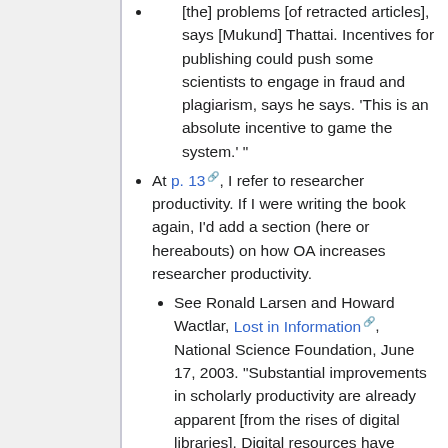[the] problems [of retracted articles], says [Mukund] Thattai. Incentives for publishing could push some scientists to engage in fraud and plagiarism, says he says. 'This is an absolute incentive to game the system.' "
At p. 13, I refer to researcher productivity. If I were writing the book again, I'd add a section (here or hereabouts) on how OA increases researcher productivity.
See Ronald Larsen and Howard Wactlar, Lost in Information, National Science Foundation, June 17, 2003. "Substantial improvements in scholarly productivity are already apparent [from the rises of digital libraries]. Digital resources have